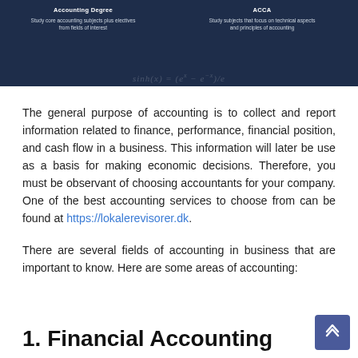[Figure (infographic): Dark navy blue infographic panel showing two columns: 'Accounting Degree' (Study core accounting subjects plus electives from fields of interest) and 'ACCA' (Study subjects that focus on technical aspects and principles of accounting), with mathematical formula overlay at the bottom.]
The general purpose of accounting is to collect and report information related to finance, performance, financial position, and cash flow in a business. This information will later be use as a basis for making economic decisions. Therefore, you must be observant of choosing accountants for your company. One of the best accounting services to choose from can be found at https://lokalerevisorer.dk.
There are several fields of accounting in business that are important to know. Here are some areas of accounting:
1. Financial Accounting